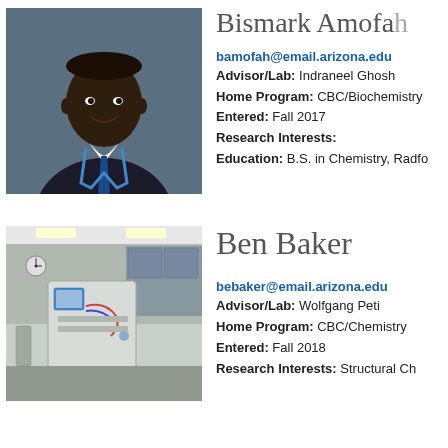[Figure (photo): Professional headshot of Bismark Amofah wearing a dark suit and blue tie with a lanyard]
Bismark Amofah
bamofah@email.arizona.edu
Advisor/Lab: Indraneel Ghosh
Home Program: CBC/Biochemistry
Entered: Fall 2017
Research Interests:
Education: B.S. in Chemistry, Radfo...
[Figure (photo): Photo of a laboratory with equipment including an HPLC or similar analytical instrument with a computer monitor]
Ben Baker
bebaker@email.arizona.edu
Advisor/Lab: Wolfgang Peti
Home Program: CBC/Chemistry
Entered: Fall 2018
Research Interests: Structural Ch...